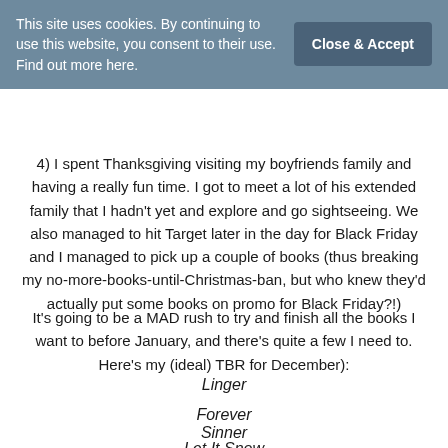This site uses cookies. By continuing to use this website, you consent to their use. Find out more here.
Close & Accept
4) I spent Thanksgiving visiting my boyfriends family and having a really fun time. I got to meet a lot of his extended family that I hadn't yet and explore and go sightseeing. We also managed to hit Target later in the day for Black Friday and I managed to pick up a couple of books (thus breaking my no-more-books-until-Christmas-ban, but who knew they'd actually put some books on promo for Black Friday?!)
It's going to be a MAD rush to try and finish all the books I want to before January, and there's quite a few I need to. Here's my (ideal) TBR for December):
Linger
Forever
Sinner
Let It Snow